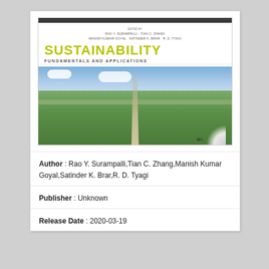[Figure (illustration): Book cover of 'Sustainability: Fundamentals and Applications' edited by Rao Y. Surampalli, Tian C. Zhang, Manish Kumar Goyal, Satinder K. Brar, R.D. Tyagi. Cover shows an aerial photograph of a road through agricultural fields with sky and clouds. Published by Wiley.]
Author : Rao Y. Surampalli,Tian C. Zhang,Manish Kumar Goyal,Satinder K. Brar,R. D. Tyagi
Publisher : Unknown
Release Date : 2020-03-19